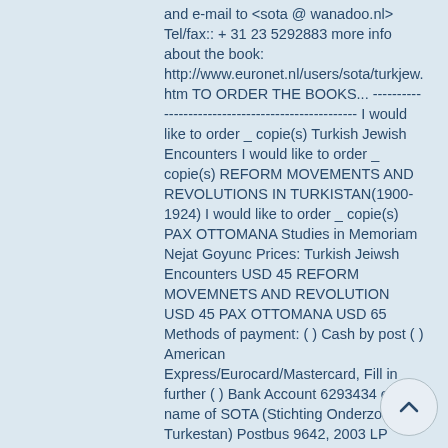and e-mail to <sota @ wanadoo.nl> Tel/fax:: + 31 23 5292883 more info about the book: http://www.euronet.nl/users/sota/turkjew.htm TO ORDER THE BOOKS... -------------------------------------------------- I would like to order _ copie(s) Turkish Jewish Encounters I would like to order _ copie(s) REFORM MOVEMENTS AND REVOLUTIONS IN TURKISTAN(1900-1924) I would like to order _ copie(s) PAX OTTOMANA Studies in Memoriam Nejat Goyunc Prices: Turkish Jeiwsh Encounters USD 45 REFORM MOVEMNETS AND REVOLUTION USD 45 PAX OTTOMANA USD 65 Methods of payment: ( ) Cash by post ( ) American Express/Eurocard/Mastercard, Fill in further ( ) Bank Account 6293434 on the name of SOTA (Stichting Onderzoek Turkestan) Postbus 9642, 2003 LP Haarlem Netherlands, please add 10 Dollars bank costs. The book will be sent postage paid to your adress after receiving of your payment: Delivery weeks Date: